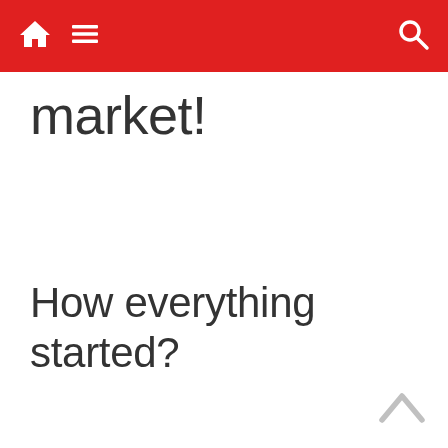Navigation bar with home, menu, and search icons
market!
How everything started?